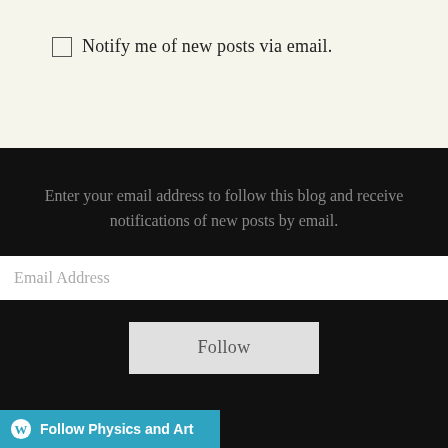☐ Notify me of new posts via email.
Enter your email address to follow this blog and receive notifications of new posts by email.
Email Address
Follow
Follow Physics and Art